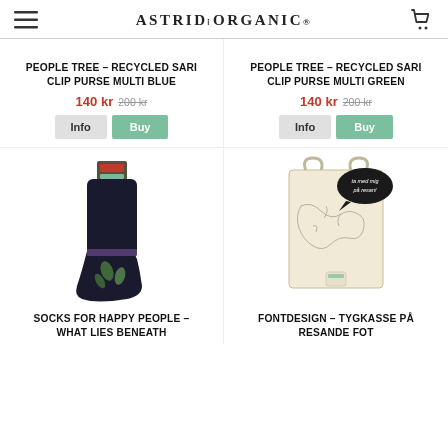ASTRID&ORGANIC
PEOPLE TREE - RECYCLED SARI CLIP PURSE MULTI BLUE
140 kr  200 kr
Info  Buy
PEOPLE TREE - RECYCLED SARI CLIP PURSE MULTI GREEN
140 kr  200 kr
Info  Buy
[Figure (photo): Dark socks with green leaf pattern and packaging tag]
[Figure (photo): Cream/beige tote bag with illustrated map and speech bubble saying 'ta med mig på resan!']
SOCKS FOR HAPPY PEOPLE - WHAT LIES BENEATH
FONTDESIGN - TYGKASSE PÅ RESANDE FOT